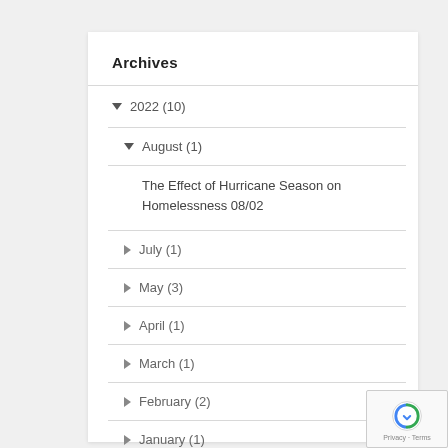Archives
▼ 2022 (10)
▼ August (1)
The Effect of Hurricane Season on Homelessness 08/02
► July (1)
► May (3)
► April (1)
► March (1)
► February (2)
► January (1)